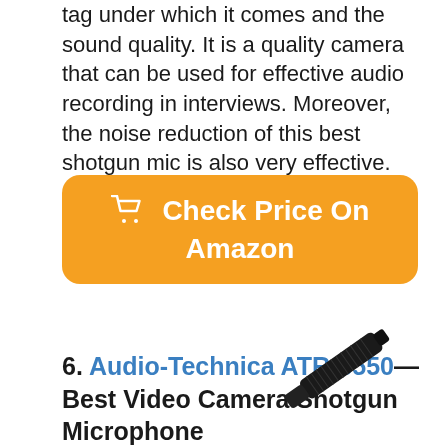tag under which it comes and the sound quality. It is a quality camera that can be used for effective audio recording in interviews. Moreover, the noise reduction of this best shotgun mic is also very effective.
[Figure (other): Orange rounded button with shopping cart icon and text 'Check Price On Amazon']
6. Audio-Technica ATR-6550— Best Video Camera Shotgun Microphone
[Figure (photo): Photo of a black shotgun microphone (Audio-Technica ATR-6550) angled diagonally, visible at bottom-right of page]